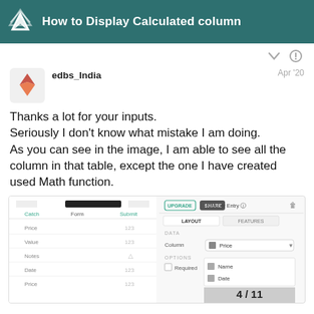How to Display Calculated column
edbs_India   Apr '20
Thanks a lot for your inputs.
Seriously I don't know what mistake I am doing.
As you can see in the image, I am able to see all the column in that table, except the one I have created used Math function.
[Figure (screenshot): Screenshot of a mobile app form showing fields: Price, Value, Notes, Date, Price on the left side, and a Number Entry panel on the right with LAYOUT/FEATURES tabs, DATA section with Column dropdown showing 'Price', OPTIONS section with Required checkbox, and a dropdown showing Name and Date options.]
4 / 11